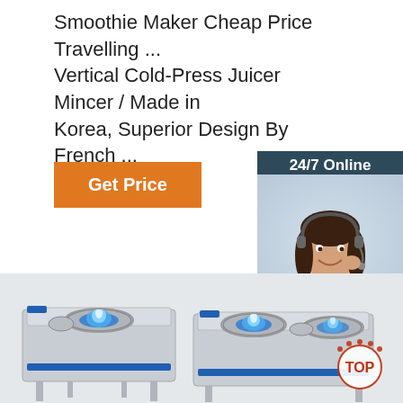Smoothie Maker Cheap Price Travelling ... Vertical Cold-Press Juicer Mincer / Made in Korea, Superior Design By French ...
[Figure (other): Orange 'Get Price' button]
[Figure (other): Customer service agent chat widget with '24/7 Online' header, agent photo, 'Click here for free chat!' text, and orange QUOTATION button]
[Figure (photo): Two stainless steel commercial gas wok burner stoves with blue flames, on a light gray background. Red 'TOP' badge with dots in bottom right corner.]